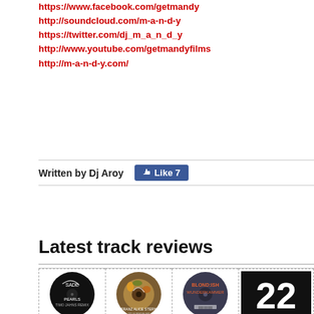https://www.facebook.com/getmandy
http://soundcloud.com/m-a-n-d-y
https://twitter.com/dj_m_a_n_d_y
http://www.youtube.com/getmandyfilms
http://m-a-n-d-y.com/
Written by Dj Aroy
Latest track reviews
[Figure (photo): Album art for Sade - Pearls (Timo Jahns Remix), circular black vinyl style]
Sade - Pearls (Timo Jahns Remix)
[Figure (photo): Album art for Franz Alice Stern - To survive EP, circular style with fruit/botanical imagery]
Franz Alice Stern - To survive EP
[Figure (photo): Album art for Blondish - Wunderkammer EP, circular dark vinyl style with orange text]
Blondish - Wunderkammer EP
[Figure (photo): Album art for Deux Tigres and Erkka - Who s the one, black background with large white number 22]
Deux Tigres and Erkka - Who s the one